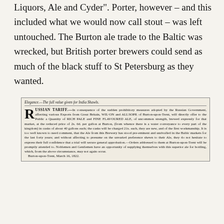Liquors, Ale and Cyder". Porter, however – and this included what we would now call stout – was left untouched. The Burton ale trade to the Baltic was wrecked, but British porter brewers could send as much of the black stuff to St Petersburg as they wanted.
[Figure (other): Reproduced newspaper clipping with header 'Elegance. — The full value given for India Shawls.' and article headed 'RUSSIAN TARIFF' describing Wilson and Allsopp of Burton-upon-Trent offering Rich Pale and Fine Flavoured Ale in consequence of Russian prohibitory measures, dated Burton-upon-Trent, March 16, 1822.]